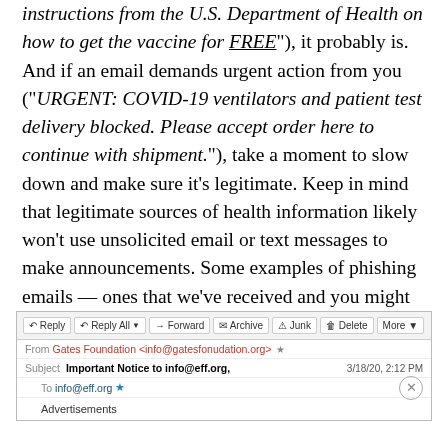instructions from the U.S. Department of Health on how to get the vaccine for FREE"), it probably is. And if an email demands urgent action from you (“URGENT: COVID-19 ventilators and patient test delivery blocked. Please accept order here to continue with shipment.”), take a moment to slow down and make sure it’s legitimate. Keep in mind that legitimate sources of health information likely won’t use unsolicited email or text messages to make announcements. Some examples of phishing emails — ones that we’ve received and you might similarly encounter — are included at the bottom of this post.
[Figure (screenshot): Screenshot of a phishing email in an email client. From: Gates Foundation <info@gatesfonudation.org>. Subject: Important Notice to info@eff.org, dated 3/18/20, 2:12 PM. To: info@eff.org. Body shows 'Advertisements'.]